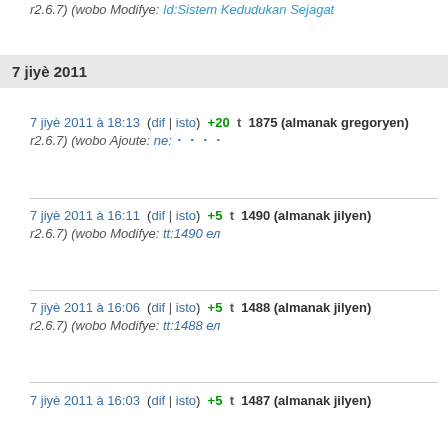r2.6.7) (wobo Modifye: Id:Sistem Kedudukan Sejagat
7 jiyè 2011
7 jiyè 2011 à 18:13  (dif | isto)  +20  t  1875 (almanak gregoryen)
r2.6.7) (wobo Ajoute: ne:᠊᠊᠊᠊
7 jiyè 2011 à 16:11  (dif | isto)  +5  t  1490 (almanak jilyen)
r2.6.7) (wobo Modifye: tt:1490 ел
7 jiyè 2011 à 16:06  (dif | isto)  +5  t  1488 (almanak jilyen)
r2.6.7) (wobo Modifye: tt:1488 ел
7 jiyè 2011 à 16:03  (dif | isto)  +5  t  1487 (almanak jilyen)